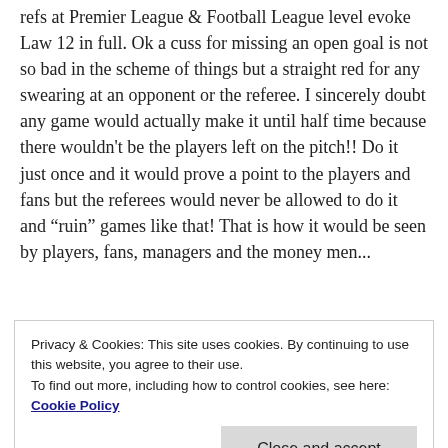refs at Premier League & Football League level evoke Law 12 in full. Ok a cuss for missing an open goal is not so bad in the scheme of things but a straight red for any swearing at an opponent or the referee. I sincerely doubt any game would actually make it until half time because there wouldn't be the players left on the pitch!! Do it just once and it would prove a point to the players and fans but the referees would never be allowed to do it and “ruin” games like that! That is how it would be seen by players, fans, managers and the money men...
Society in general is to blame as well. To this day I
Privacy & Cookies: This site uses cookies. By continuing to use this website, you agree to their use.
To find out more, including how to control cookies, see here: Cookie Policy
Close and accept
you. My elder children would think nothing of using